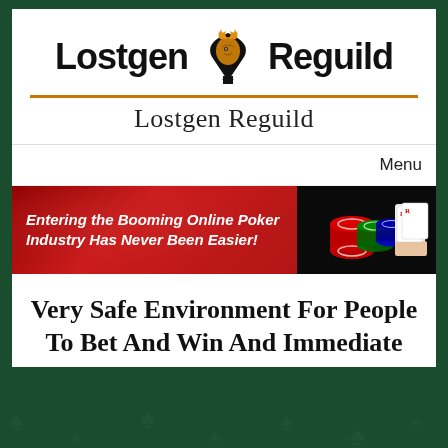[Figure (logo): Lostgen Reguild logo with spade/horse-head icon in orange and black, text 'Lostgen' on left and 'Reguild' on right with orange underline bars]
Lostgen Reguild
Menu
[Figure (infographic): Red banner advertisement with text 'Entering the Booming Online Poker Industry Has Never Been Easier!' on the left and poker chips and playing cards image on the right]
Very Safe Environment For People To Bet And Win And Immediate